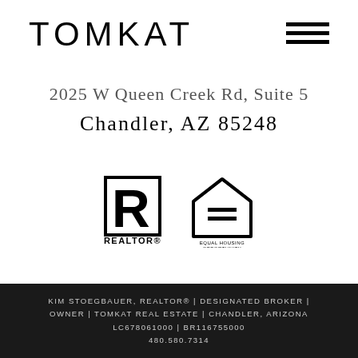TOMKAT
2025 W Queen Creek Rd, Suite 5
Chandler, AZ 85248
[Figure (logo): REALTOR logo - block R in a square border with REALTOR text below]
[Figure (logo): Equal Housing Opportunity logo - house shape with equals sign and small text below]
KIM STOEGBAUER, REALTOR® | DESIGNATED BROKER | OWNER | TOMKAT REAL ESTATE | CHANDLER, ARIZONA LC678061000 | BR116755000 480.580.7314